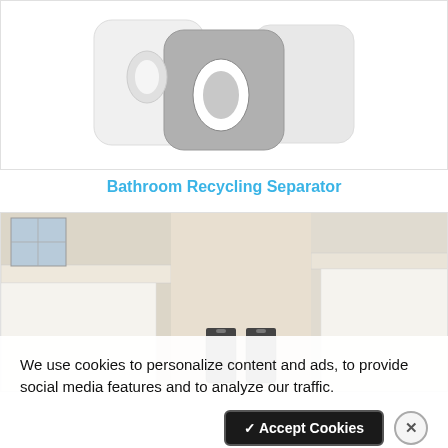[Figure (photo): Product photo of a Bathroom Recycling Separator – two white and one gray square containers with oval cutouts, shown on white background]
Bathroom Recycling Separator
[Figure (photo): Interior room photo showing kitchen or bathroom countertop area with white cabinetry, a stone-colored wall, and small dark trash bins partially visible at the bottom]
We use cookies to personalize content and ads, to provide social media features and to analyze our traffic.
✓ Accept Cookies